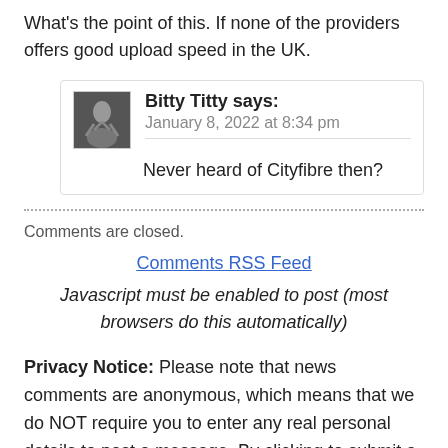What's the point of this. If none of the providers offers good upload speed in the UK.
Bitty Titty says: January 8, 2022 at 8:34 pm
Never heard of Cityfibre then?
Comments are closed.
Comments RSS Feed
Javascript must be enabled to post (most browsers do this automatically)
Privacy Notice: Please note that news comments are anonymous, which means that we do NOT require you to enter any real personal details to post a message. By clicking to submit a post you agree to storing your